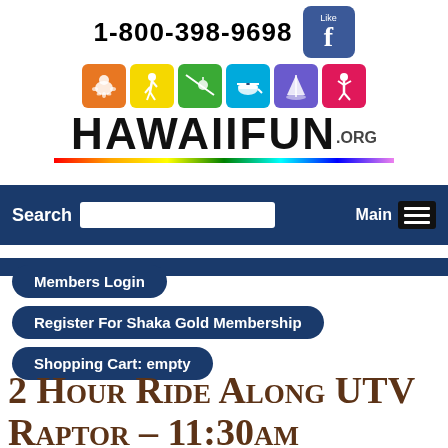1-800-398-9698
[Figure (logo): HawaiiFun.org logo with colorful activity icons and rainbow bar]
[Figure (logo): Facebook Like button badge]
Search | Main
Members Login
Register For Shaka Gold Membership
Shopping Cart: empty
2 Hour Ride Along UTV Raptor - 11:30am